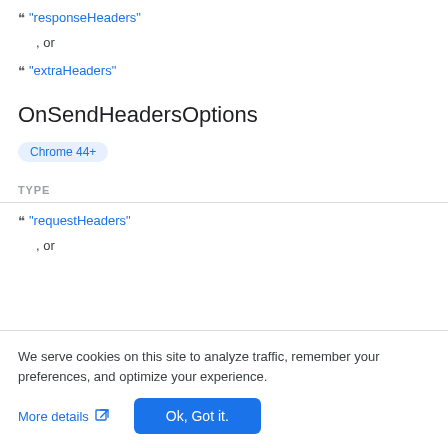" "responseHeaders"
, or
" "extraHeaders"
OnSendHeadersOptions
Chrome 44+
TYPE
" "requestHeaders"
, or
We serve cookies on this site to analyze traffic, remember your preferences, and optimize your experience.
More details
Ok, Got it.